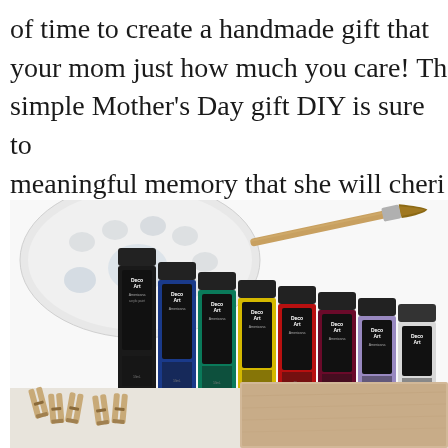of time to create a handmade gift that your mom just how much you care! Th simple Mother's Day gift DIY is sure to meaningful memory that she will cheri turn a simple photo into a unique moth gift in just a few easy steps. Let's get s
[Figure (photo): Photo showing DecoArt acrylic paint bottles (black, blue, teal, yellow, red, dark red/maroon, lavender/purple, and white) arranged diagonally on a white surface, with a white paint palette and a paintbrush visible in the upper portion, and wooden clothespins and a wood panel visible in the lower portion.]